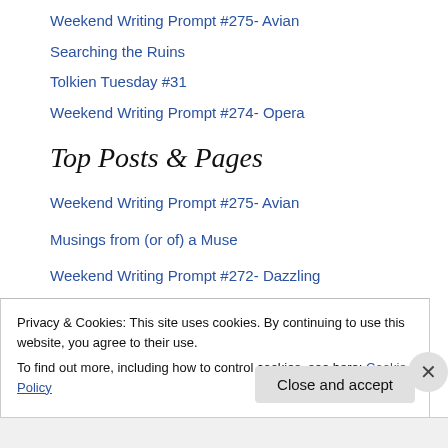Weekend Writing Prompt #275- Avian
Searching the Ruins
Tolkien Tuesday #31
Weekend Writing Prompt #274- Opera
Top Posts & Pages
Weekend Writing Prompt #275- Avian
Musings from (or of) a Muse
Weekend Writing Prompt #272- Dazzling
Welcome
Privacy & Cookies: This site uses cookies. By continuing to use this website, you agree to their use.
To find out more, including how to control cookies, see here: Cookie Policy